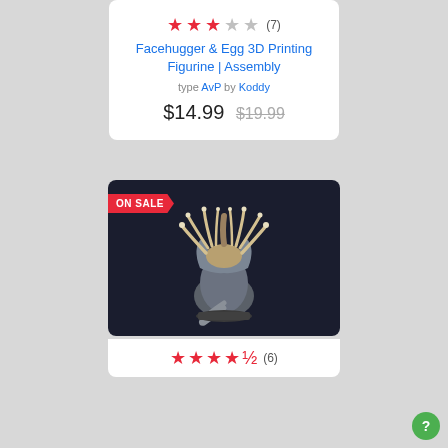[Figure (other): Star rating row showing 3 filled red stars, 2 empty gray stars, and a review count of (7)]
Facehugger & Egg 3D Printing Figurine | Assembly
type AvP by Koddy
$14.99 $19.99
[Figure (photo): 3D rendered figurine of a facehugger alien emerging from an egg on a dark background, with an ON SALE banner in the top left corner]
[Figure (other): Star rating row showing 4 filled red stars, 1 half/partial star, and a review count of (6)]